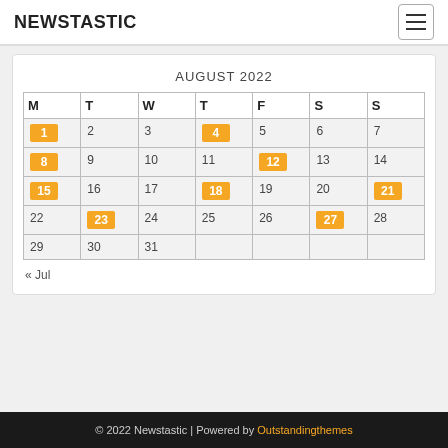NEWSTASTIC
AUGUST 2022
| M | T | W | T | F | S | S |
| --- | --- | --- | --- | --- | --- | --- |
| 1 | 2 | 3 | 4 | 5 | 6 | 7 |
| 8 | 9 | 10 | 11 | 12 | 13 | 14 |
| 15 | 16 | 17 | 18 | 19 | 20 | 21 |
| 22 | 23 | 24 | 25 | 26 | 27 | 28 |
| 29 | 30 | 31 |  |  |  |  |
« Jul
© 2022 Newstastic | Powered by Outstandingthemes